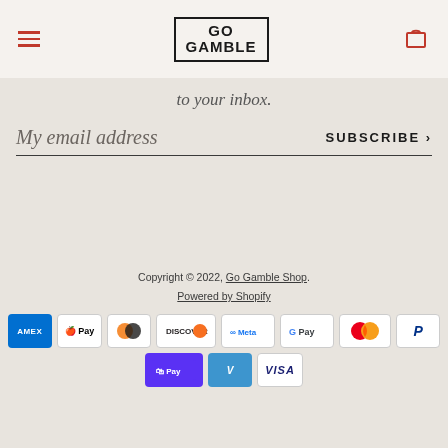[Figure (logo): Go Gamble logo in black bold text inside a rectangular border, with hamburger menu icon in red on the left and cart icon in red on the right]
to your inbox.
My email address
SUBSCRIBE
Copyright © 2022, Go Gamble Shop. Powered by Shopify
[Figure (infographic): Payment method icons: American Express, Apple Pay, Diners Club, Discover, Meta Pay, Google Pay, Mastercard, PayPal, Shop Pay, Venmo, Visa]